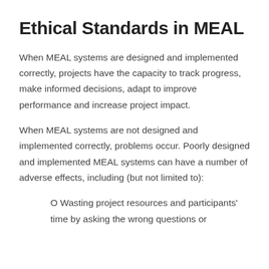Ethical Standards in MEAL
When MEAL systems are designed and implemented correctly, projects have the capacity to track progress, make informed decisions, adapt to improve performance and increase project impact.
When MEAL systems are not designed and implemented correctly, problems occur. Poorly designed and implemented MEAL systems can have a number of adverse effects, including (but not limited to):
O Wasting project resources and participants' time by asking the wrong questions or